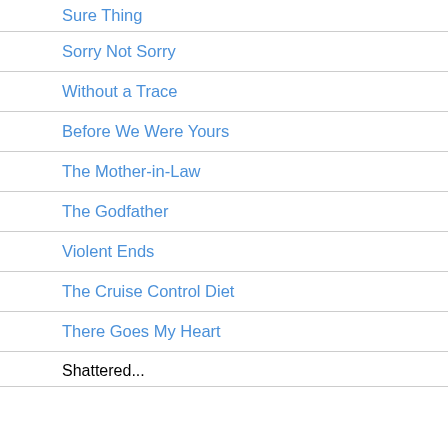Sure Thing
Sorry Not Sorry
Without a Trace
Before We Were Yours
The Mother-in-Law
The Godfather
Violent Ends
The Cruise Control Diet
There Goes My Heart
Shattered...